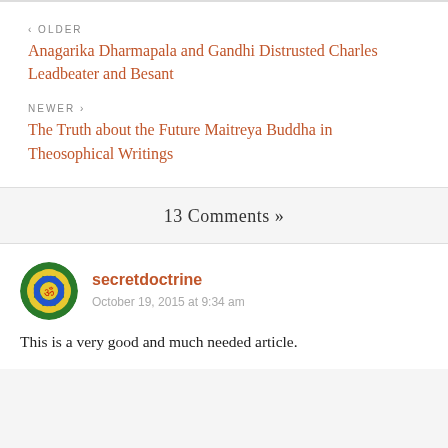‹ OLDER
Anagarika Dharmapala and Gandhi Distrusted Charles Leadbeater and Besant
NEWER ›
The Truth about the Future Maitreya Buddha in Theosophical Writings
13 Comments »
secretdoctrine
October 19, 2015 at 9:34 am
This is a very good and much needed article.